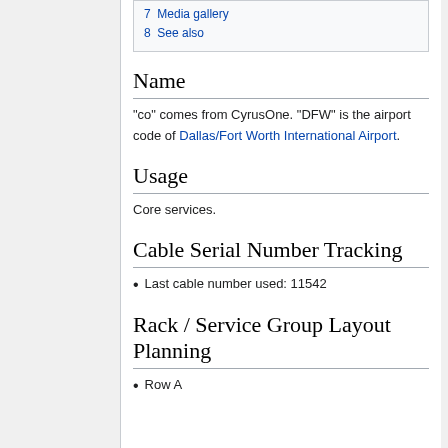7  Media gallery
8  See also
Name
"co" comes from CyrusOne. "DFW" is the airport code of Dallas/Fort Worth International Airport.
Usage
Core services.
Cable Serial Number Tracking
Last cable number used: 11542
Rack / Service Group Layout Planning
Row A